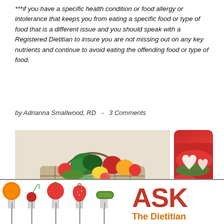***if you have a specific health condition or food allergy or intolerance that keeps you from eating a specific food or type of food that is a different issue and you should speak with a Registered Dietitian to insure you are not missing out on any key nutrients and continue to avoid eating the offending food or type of food.
by Adrianna Smallwood, RD  -  3 Comments
[Figure (photo): A wire shopping basket filled with colorful fresh vegetables and fruits including broccoli, peppers, tomatoes, lemons, and other produce.]
[Figure (photo): Heart-shaped mozzarella cheese slices on top of sliced tomatoes with herbs, with additional tomatoes in the background.]
[Figure (photo): Ask The Dietitian logo banner showing various foods on forks (orange, cherry, tomato, strawberry, pickle) with the text ASK in large red letters and The Dietitian in orange.]